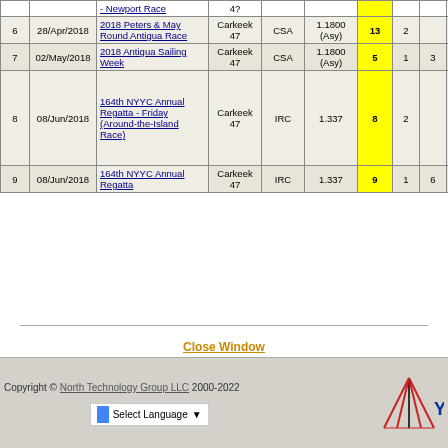| # | Date | Race | Boat | Rule | Rating | Fin | 1 | 2 | 3 | 4 | 5 | 6 | 7 |
| --- | --- | --- | --- | --- | --- | --- | --- | --- | --- | --- | --- | --- | --- |
| 6 | 28/Apr/2018 | 2018 Peters & May Round Antigua Race | Carkeek 47 | CSA | 1.1800 (Asy) | 13 | 2 |  |  |  |  |  |  |  |
| 7 | 02/May/2018 | 2018 Antigua Sailing Week | Carkeek 47 | CSA | 1.1800 (Asy) | 5 | 1 | 3 | 3 | 2 | 2 | 3 | 2 |
| 8 | 08/Jun/2018 | 164th NYYC Annual Regatta - Friday (Around-the-Island Race) | Carkeek 47 | IRC | 1.337 | 8 | 2 |  |  |  |  |  |  |
| 9 | 08/Jun/2018 | 164th NYYC Annual Regatta | Carkeek 47 | IRC | 1.337 | 9 | 1 | 6 |  |  |  |  |  |  |
Close Window
Copyright © North Technology Group LLC 2000-2022